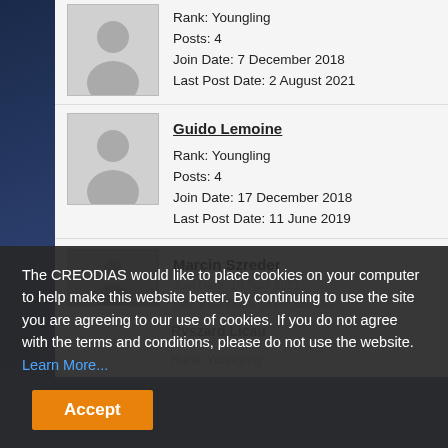[Figure (illustration): Anonymous user avatar placeholder (grey silhouette) for first user entry]
Rank: Youngling
Posts: 4
Join Date: 7 December 2018
Last Post Date: 2 August 2021
Guido Lemoine
[Figure (illustration): Anonymous user avatar placeholder (grey silhouette) for Guido Lemoine]
Rank: Youngling
Posts: 4
Join Date: 17 December 2018
Last Post Date: 11 June 2019
Marcin Szreder
The CREODIAS would like to place cookies on your computer to help make this website better. By continuing to use the site you are agreeing to our use of cookies. If you do not agree with the terms and conditions, please do not use the website. Learn More... Accept